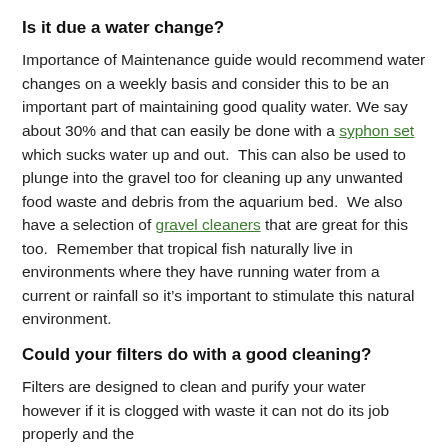Is it due a water change?
Importance of Maintenance guide would recommend water changes on a weekly basis and consider this to be an important part of maintaining good quality water. We say about 30% and that can easily be done with a syphon set which sucks water up and out.  This can also be used to plunge into the gravel too for cleaning up any unwanted food waste and debris from the aquarium bed.  We also have a selection of gravel cleaners that are great for this too.  Remember that tropical fish naturally live in environments where they have running water from a current or rainfall so it’s important to stimulate this natural environment.
Could your filters do with a good cleaning?
Filters are designed to clean and purify your water however if it is clogged with waste it can not do its job properly and the